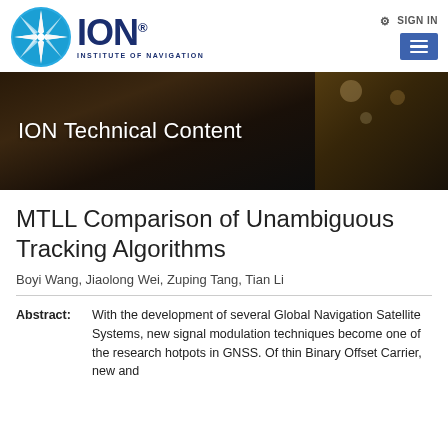[Figure (logo): ION Institute of Navigation logo with compass rose circle and blue ION lettering]
SIGN IN / Menu
[Figure (photo): Banner image showing open books and bokeh lights with text 'ION Technical Content']
MTLL Comparison of Unambiguous Tracking Algorithms
Boyi Wang, Jiaolong Wei, Zuping Tang, Tian Li
Abstract: With the development of several Global Navigation Satellite Systems, new signal modulation techniques become one of the research hotpots in GNSS. Of thin Binary Offset Carrier, new and...